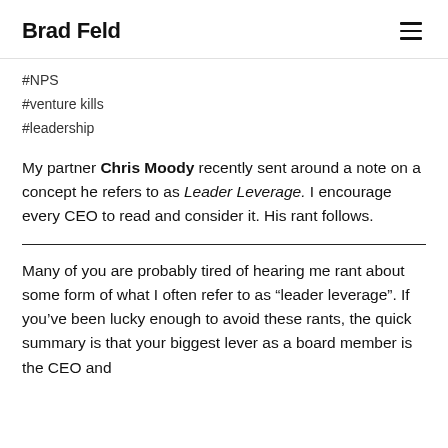Brad Feld
#NPS
#venture kills
#leadership
My partner Chris Moody recently sent around a note on a concept he refers to as Leader Leverage. I encourage every CEO to read and consider it. His rant follows.
Many of you are probably tired of hearing me rant about some form of what I often refer to as “leader leverage”. If you’ve been lucky enough to avoid these rants, the quick summary is that your biggest lever as a board member is the CEO and